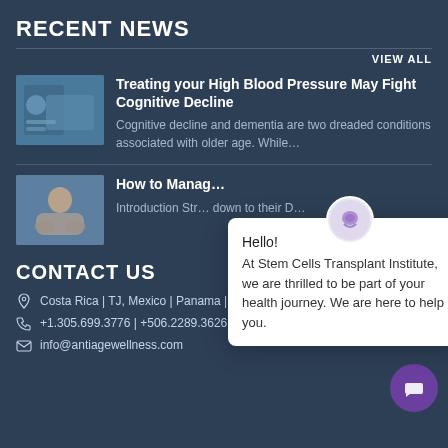RECENT NEWS
VIEW ALL
Treating your High Blood Pressure May Fight Cognitive Decline
Cognitive decline and dementia are two dreaded conditions associated with older age. While…
[Figure (photo): Person checking blood pressure]
How to Manag…
Introduction Str… down to their D…
[Figure (photo): Person meditating in yoga pose]
CONTACT US
Costa Rica | TJ, Mexico | Panama | USA
+1.305.699.3776 | +506.2289.3626 | +506.2208.851…
info@antiagewellness.com
[Figure (screenshot): Chat popup with message: Hello! At Stem Cells Transplant Institute, we are thrilled to be part of your health journey. We are here to help you.]
[Figure (logo): Purple chat button icon]